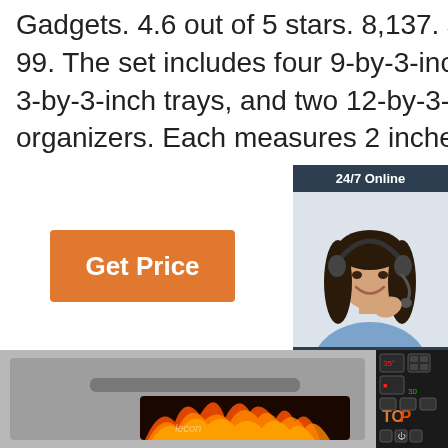Gadgets. 4.6 out of 5 stars. 8,137. $12.99. $12. . 99. The set includes four 9-by-3-inch bins, four 3-by-3-inch trays, and two 12-by-3-inch drawer organizers. Each measures 2 inches i
[Figure (other): Get Price orange button]
[Figure (infographic): 24/7 Online live chat widget with woman wearing headset, and a QUOTATION button]
[Figure (photo): Commercial/industrial oven with glowing flames visible through the glass window and a digital control panel on the right side, labeled lecon]